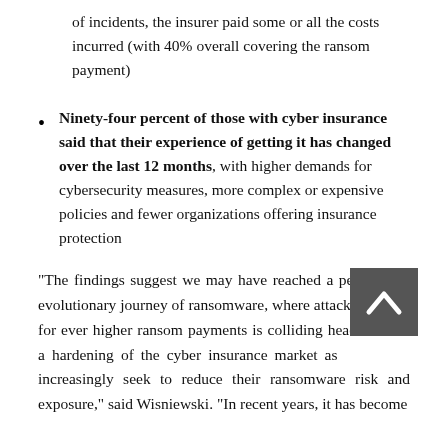of incidents, the insurer paid some or all the costs incurred (with 40% overall covering the ransom payment)
Ninety-four percent of those with cyber insurance said that their experience of getting it has changed over the last 12 months, with higher demands for cybersecurity measures, more complex or expensive policies and fewer organizations offering insurance protection
“The findings suggest we may have reached a peak in the evolutionary journey of ransomware, where attackers’ greed for ever higher ransom payments is colliding head on with a hardening of the cyber insurance market as businesses increasingly seek to reduce their ransomware risk and exposure,” said Wisniewski. “In recent years, it has become